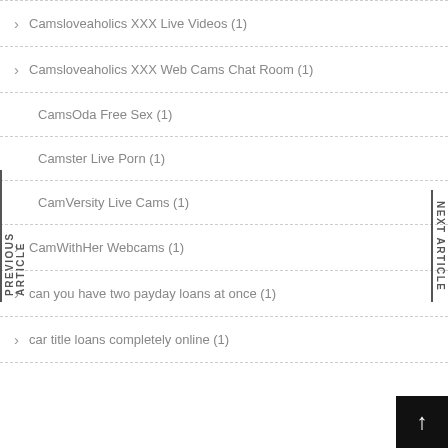Camsloveaholics XXX Live Videos (1)
Camsloveaholics XXX Web Cams Chat Room (1)
CamsOda Free Sex (1)
Camster Live Porn (1)
CamVersity Live Cams (1)
CamWithHer Webcams (1)
can you have two payday loans at once (1)
car title loans completely online (1)